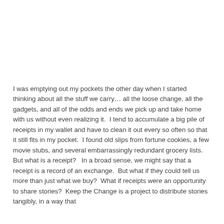I was emptying out my pockets the other day when I started thinking about all the stuff we carry… all the loose change, all the gadgets, and all of the odds and ends we pick up and take home with us without even realizing it.  I tend to accumulate a big pile of receipts in my wallet and have to clean it out every so often so that it still fits in my pocket.  I found old slips from fortune cookies, a few movie stubs, and several embarrassingly redundant grocery lists.  But what is a receipt?   In a broad sense, we might say that a receipt is a record of an exchange.  But what if they could tell us more than just what we buy?  What if receipts were an opportunity to share stories?  Keep the Change is a project to distribute stories tangibly, in a way that